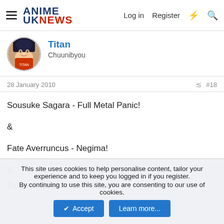ANIME UK NEWS  Log in  Register
[Figure (photo): Circular avatar image of user Titan with anime character]
Titan
Chuunibyou
28 January 2010  #18
Sousuke Sagara - Full Metal Panic!

&

Fate Averruncus - Negima!

&

Zelgadis Graywords - Slayers
This site uses cookies to help personalise content, tailor your experience and to keep you logged in if you register.
By continuing to use this site, you are consenting to our use of cookies.